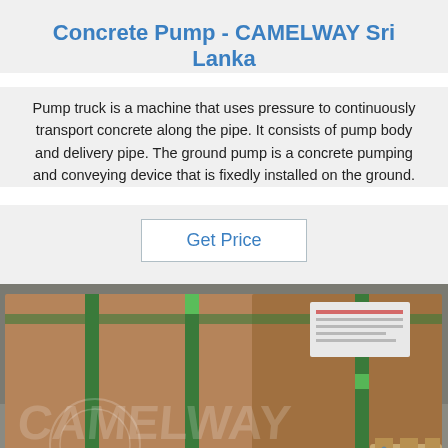Concrete Pump - CAMELWAY Sri Lanka
Pump truck is a machine that uses pressure to continuously transport concrete along the pipe. It consists of pump body and delivery pipe. The ground pump is a concrete pumping and conveying device that is fixedly installed on the ground.
Get Price
[Figure (photo): Cardboard boxes strapped with green tape/straps on a warehouse floor, with CAMELWAY watermark and TOP logo visible]